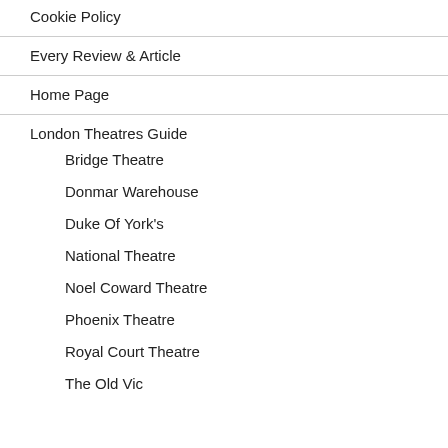Cookie Policy
Every Review & Article
Home Page
London Theatres Guide
Bridge Theatre
Donmar Warehouse
Duke Of York's
National Theatre
Noel Coward Theatre
Phoenix Theatre
Royal Court Theatre
The Old Vic